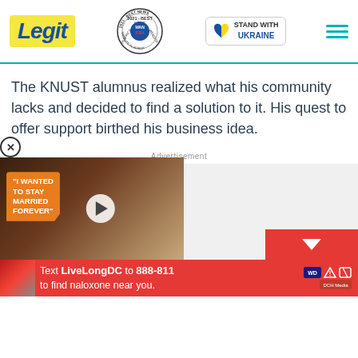[Figure (logo): Legit.ng website header with Legit logo in yellow background, WAN-IFRA 2021 Best News Website in Africa award badge, Stand With Ukraine badge with heart icon, and hamburger menu icon]
The KNUST alumnus realized what his community lacks and decided to find a solution to it. His quest to offer support birthed his business idea.
Advertisement
[Figure (screenshot): Advertisement area with a video player showing a couple with overlay text 'I WANTED TO STAY MARRIED FOREVER' in orange speech bubble, a play button, a close (X) button, and a red chevron-down button. Below is a red banner ad: Text LiveLongDC to 888-811 to find naloxone near you.]